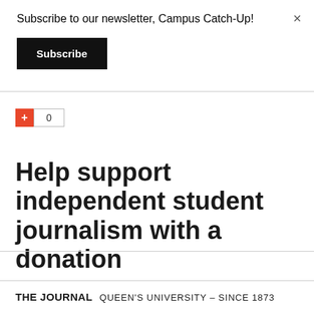Subscribe to our newsletter, Campus Catch-Up!
Subscribe
×
0
Help support independent student journalism with a donation
THE JOURNAL  QUEEN'S UNIVERSITY – SINCE 1873